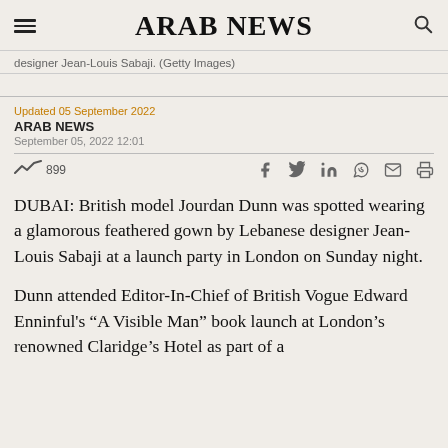ARAB NEWS
designer Jean-Louis Sabaji. (Getty Images)
Updated 05 September 2022
ARAB NEWS
September 05, 2022 12:01
899
DUBAI: British model Jourdan Dunn was spotted wearing a glamorous feathered gown by Lebanese designer Jean-Louis Sabaji at a launch party in London on Sunday night.
Dunn attended Editor-In-Chief of British Vogue Edward Enninful's “A Visible Man” book launch at London’s renowned Claridge’s Hotel as part of a